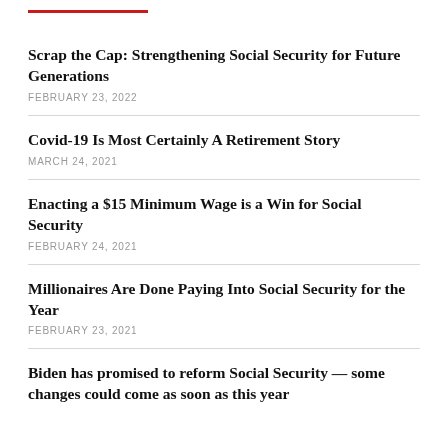Scrap the Cap: Strengthening Social Security for Future Generations
FEBRUARY 23, 2022
Covid-19 Is Most Certainly A Retirement Story
MARCH 24, 2021
Enacting a $15 Minimum Wage is a Win for Social Security
FEBRUARY 24, 2021
Millionaires Are Done Paying Into Social Security for the Year
FEBRUARY 23, 2021
Biden has promised to reform Social Security — some changes could come as soon as this year